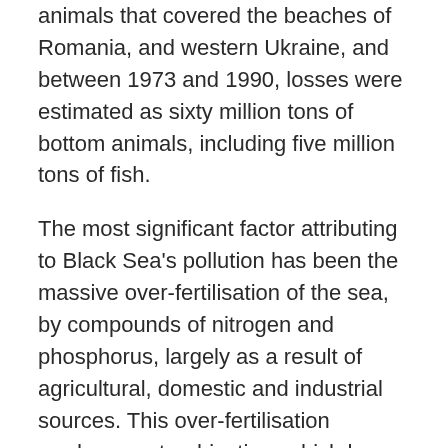animals that covered the beaches of Romania, and western Ukraine, and between 1973 and 1990, losses were estimated as sixty million tons of bottom animals, including five million tons of fish.
The most significant factor attributing to Black Sea's pollution has been the massive over-fertilisation of the sea, by compounds of nitrogen and phosphorus, largely as a result of agricultural, domestic and industrial sources. This over-fertilisation produces eutrophication, which has changed the structure of the Black Sea ecosystem.
Eutrophication is the over-enrichment of water bodies with organic matter that results in lack of oxygen, and severe reductions in water